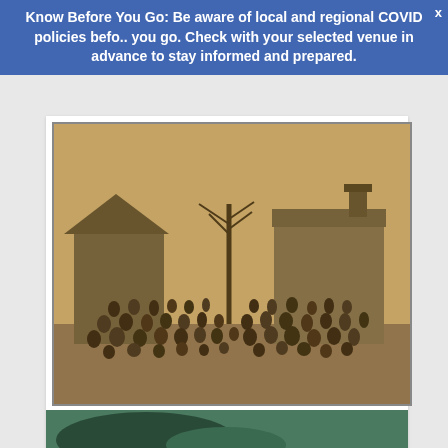Know Before You Go: Be aware of local and regional COVID policies before you go. Check with your selected venue in advance to stay informed and prepared.
[Figure (photo): Sepia-toned historical photograph of a large group of people (likely a school or community gathering) posed outdoors in front of two wooden buildings, with bare trees in the background.]
Southern Appalachian Archives
September 5 @ 9:00 am - 12:00 pm  (See all)
[Figure (photo): Partial view of another image at the bottom of the page, showing what appears to be a dark curved object against a green/teal background.]